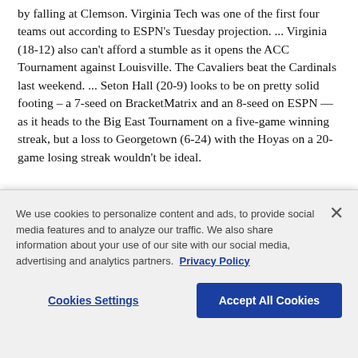by falling at Clemson. Virginia Tech was one of the first four teams out according to ESPN's Tuesday projection. ... Virginia (18-12) also can't afford a stumble as it opens the ACC Tournament against Louisville. The Cavaliers beat the Cardinals last weekend. ... Seton Hall (20-9) looks to be on pretty solid footing – a 7-seed on BracketMatrix and an 8-seed on ESPN — as it heads to the Big East Tournament on a five-game winning streak, but a loss to Georgetown (6-24) with the Hoyas on a 20-game losing streak wouldn't be ideal.
We use cookies to personalize content and ads, to provide social media features and to analyze our traffic. We also share information about your use of our site with our social media, advertising and analytics partners. Privacy Policy
Cookies Settings   Accept All Cookies